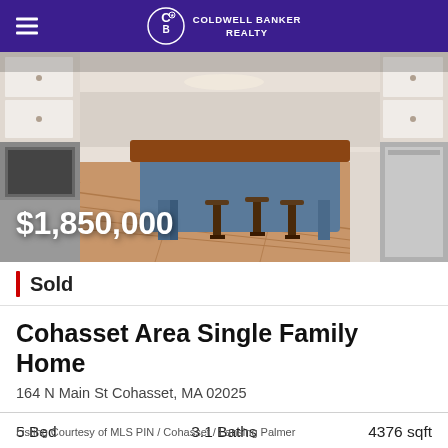COLDWELL BANKER REALTY
[Figure (photo): Interior kitchen photo showing a blue kitchen island with wood countertop, bar stools, hardwood floors, stainless steel appliances, and white cabinetry. Price overlay reads $1,850,000.]
Sold
Cohasset Area Single Family Home
164 N Main St Cohasset, MA 02025
5 Bed   3.1 Baths   4376 sqft
Listing Courtesy of MLS PIN / Cohasset / Lansing Palmer